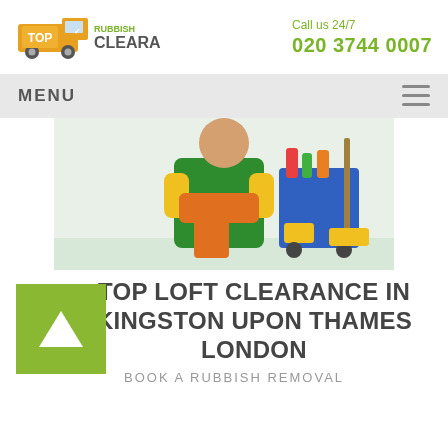[Figure (logo): Top Rubbish Clearance logo with truck icon and company name]
Call us 24/7
020 3744 0007
MENU
[Figure (photo): Cleaning person in green apron with yellow gloves standing with arms crossed next to cleaning cart with supplies]
TOP LOFT CLEARANCE IN KINGSTON UPON THAMES LONDON
BOOK A RUBBISH REMOVAL